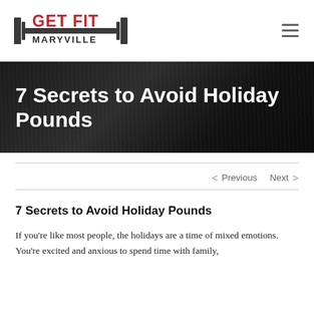GET FIT MARYVILLE
7 Secrets to Avoid Holiday Pounds
< Previous   Next >
7 Secrets to Avoid Holiday Pounds
If you're like most people, the holidays are a time of mixed emotions. You're excited and anxious to spend time with family,